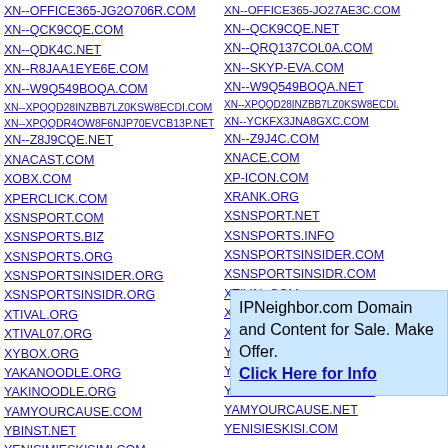XN--OFFICE365-JG2O706R.COM
XN--QCK9CQE.COM
XN--QDK4C.NET
XN--R8JAA1EYE6E.COM
XN--W9Q549BOQA.COM
XN--XPQQD28INZBB7LZ0KSW8ECDI.COM
XN--XPQQDR4OW8F6NJP70EVCB13P.NET
XN--Z8J9CQE.NET
XNACAST.COM
XOBX.COM
XPERCLICK.COM
XSNSPORT.COM
XSNSPORTS.BIZ
XSNSPORTS.ORG
XSNSPORTSINSIDER.ORG
XSNSPORTSINSIDR.ORG
XTIVAL.ORG
XTIVAL07.ORG
XYBOX.ORG
YAKANOODLE.ORG
YAKINOODLE.ORG
YAMYOURCAUSE.COM
YBINST.NET
YENISIMIESKISIMI.COM
YONAVEGOSEGURO.NET
YOUNGPEOPLESAFEONLINE.NET
YOUR-BRITAINCOMP.COM
YOUR-BRITAINCOMPETITION.NET
XN--OFFICE365-JO27AE3C.COM
XN--QCK9CQE.NET
XN--QRQ137COL0A.COM
XN--SKYP-EVA.COM
XN--W9Q549BOQA.NET
XN--XPQQD28INZBB7LZ0KSW8ECDI.
XN--YCKFX3JNA8GXC.COM
XN--Z9J4C.COM
XNACE.COM
XP-ICON.COM
XRANK.ORG
XSNSPORT.NET
XSNSPORTS.INFO
XSNSPORTSINSIDER.COM
XSNSPORTSINSIDR.COM
XTIVAL.COM
XTIVAL07.COM
XYBOX.COM
YAKANOODLE.COM
YAKINOODLE.COM
YAMMER-CAREERS.COM
YAMYOURCAUSE.NET
YENISIESKISI.COM
IPNeighbor.com Domain and Content for Sale. Make Offer. Click Here for Info